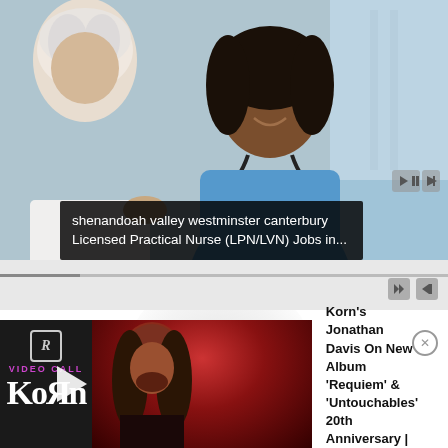[Figure (photo): Photo of a smiling nurse in blue scrubs with a stethoscope tending to an elderly white-haired patient. A media player progress bar is visible at the bottom of the video frame.]
shenandoah valley westminster canterbury Licensed Practical Nurse (LPN/LVN) Jobs in...
[Figure (photo): Advertisement for Revolver Video Call with Korn. Left side shows Revolver logo, 'VIDEO CALL' text, Korn logo, and a play button over a photo of Jonathan Davis (long dark hair, smiling) lit in red. Right side shows text about Korn's Jonathan Davis on new album.]
Korn's Jonathan Davis On New Album 'Requiem' & 'Untouchables' 20th Anniversary | Video Call